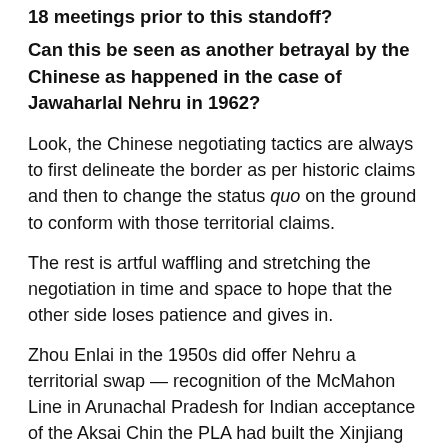18 meetings prior to this standoff?
Can this be seen as another betrayal by the Chinese as happened in the case of Jawaharlal Nehru in 1962?
Look, the Chinese negotiating tactics are always to first delineate the border as per historic claims and then to change the status quo on the ground to conform with those territorial claims.
The rest is artful waffling and stretching the negotiation in time and space to hope that the other side loses patience and gives in.
Zhou Enlai in the 1950s did offer Nehru a territorial swap — recognition of the McMahon Line in Arunachal Pradesh for Indian acceptance of the Aksai Chin the PLA had built the Xinjiang Highway through.